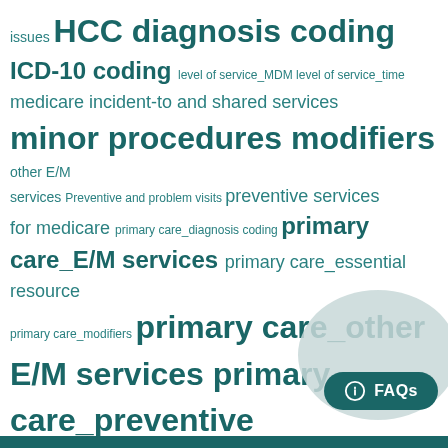issues HCC diagnosis coding ICD-10 coding level of service_MDM level of service_time medicare incident-to and shared services minor procedures modifiers other E/M services Preventive and problem visits preventive services for medicare primary care_diagnosis coding primary care_E/M services primary care_essential resource primary care_modifiers primary care_other E/M services primary care_preventive services primary care_procedures remote physiologic monitoring screening and counseling for behavioral conditions teaching physician rules telehealth